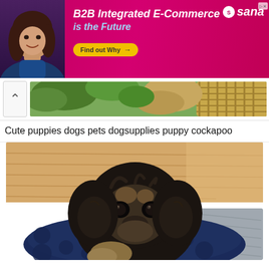[Figure (photo): Advertisement banner with pink/magenta background. Shows a woman on the left, text 'B2B Integrated E-Commerce is the Future', Sana logo top right, and a yellow 'Find out Why' button.]
[Figure (photo): Thumbnail strip showing a previous image of greenery/plants in a garden setting.]
Cute puppies dogs pets dogsupplies puppy cockapoo
[Figure (photo): Close-up photo of a cute black and tan cockapoo puppy sitting in a navy blue polka dot dog bed on a wooden floor with a grey blanket nearby.]